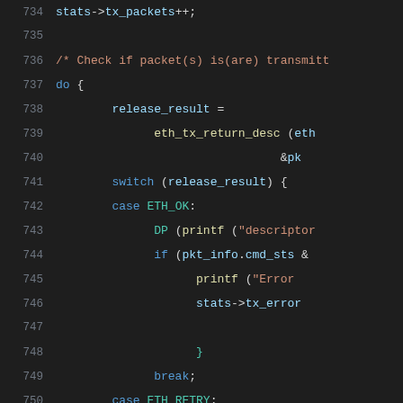[Figure (screenshot): Source code listing lines 734-754 in a dark-themed code editor, showing C code for packet transmission with syntax highlighting. Functions include eth_tx_return_desc, switch/case statements for ETH_OK, ETH_RETRY, ETH_ERROR.]